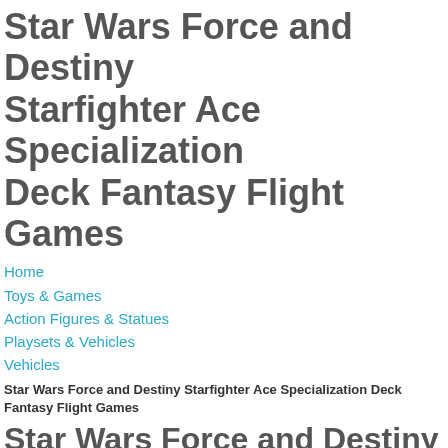Star Wars Force and Destiny
Starfighter Ace Specialization
Deck Fantasy Flight Games
Home
Toys & Games
Action Figures & Statues
Playsets & Vehicles
Vehicles
Star Wars Force and Destiny Starfighter Ace Specialization Deck Fantasy Flight Games
Star Wars Force and Destiny
Starfighter Ace Specialization Deck